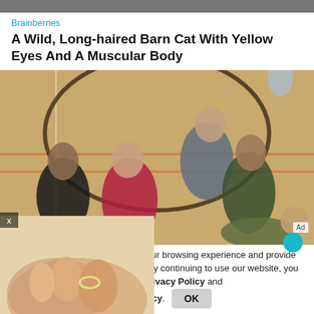[Figure (photo): Top strip showing partial image of dark background/photo at very top of page]
Brainberries
A Wild, Long-haired Barn Cat With Yellow Eyes And A Muscular Body
[Figure (photo): Group of young people (4-5) lying/sitting on a gymnasium floor with orange and white court markings, looking up at camera]
[Figure (photo): Overlay popup ad showing blurred close-up of a baby foot with a ring on a toe, warm tones]
x
Ad
nilar technologies, to enhance your browsing experience and provide personalised recommendations. By continuing to use our website, you agree to our Privacy Policy and Cookie Policy.